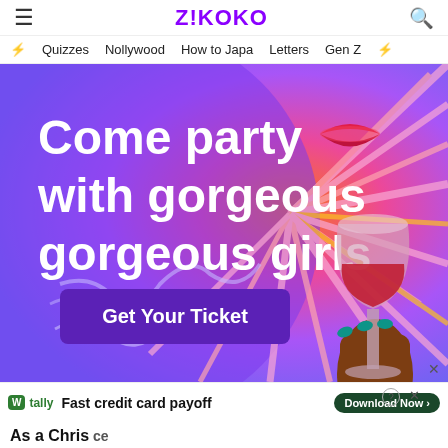Z!KOKO
⚡ Quizzes   Nollywood   How to Japa   Letters   Gen Z ⚡
[Figure (illustration): Advertisement banner with purple to pink gradient background with radiating wavy lines. Text reads 'Come party with gorgeous gorgeous girls' in bold white. A purple button says 'Get Your Ticket'. Right side shows an illustrated hand holding a wine glass with red wine, and illustrated red lips above it.]
[Figure (illustration): Bottom ad bar: Tally logo with green icon, text 'Fast credit card payoff', green pill button 'Download Now' with arrow, help and close icons.]
As a Chris... ce heen?